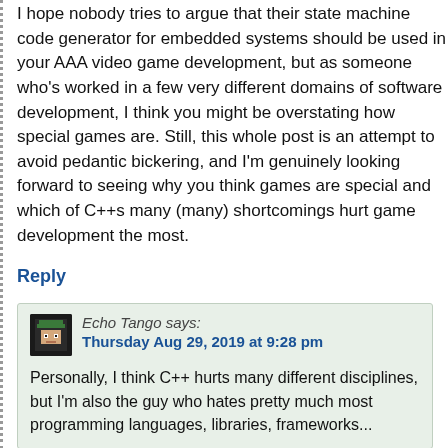I hope nobody tries to argue that their state machine code generator for embedded systems should be used in your AAA video game development, but as someone who's worked in a few very different domains of software development, I think you might be overstating how special games are. Still, this whole post is an attempt to avoid pedantic bickering, and I'm genuinely looking forward to seeing why you think games are special and which of C++s many (many) shortcomings hurt game development the most.
Reply
Echo Tango says:
Thursday Aug 29, 2019 at 9:28 pm
Personally, I think C++ hurts many different disciplines, but I'm also the guy who hates pretty much most programming languages, libraries, frameworks...